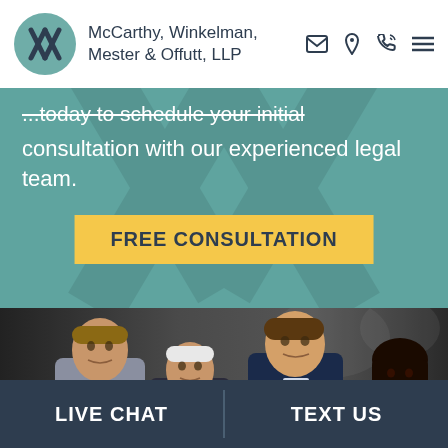McCarthy, Winkelman, Mester & Offutt, LLP
...today to schedule your initial consultation with our experienced legal team.
FREE CONSULTATION
[Figure (photo): Group photo of four attorneys of McCarthy, Winkelman, Mester & Offutt, LLP — three men in suits and one woman, posed in a hallway]
LIVE CHAT
TEXT US